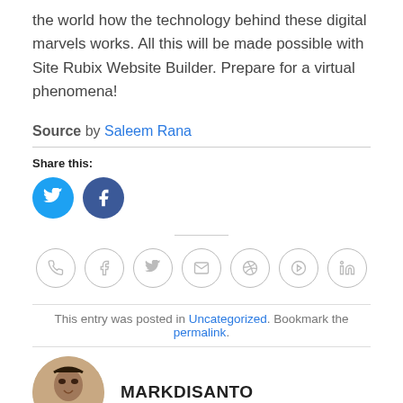the world how the technology behind these digital marvels works. All this will be made possible with Site Rubix Website Builder. Prepare for a virtual phenomena!
Source by Saleem Rana
Share this:
[Figure (infographic): Twitter and Facebook share buttons as blue circles with white icons]
[Figure (infographic): Row of social sharing icon circles: phone, facebook, twitter, email, pinterest, google+, linkedin]
This entry was posted in Uncategorized. Bookmark the permalink.
MARKDISANTO